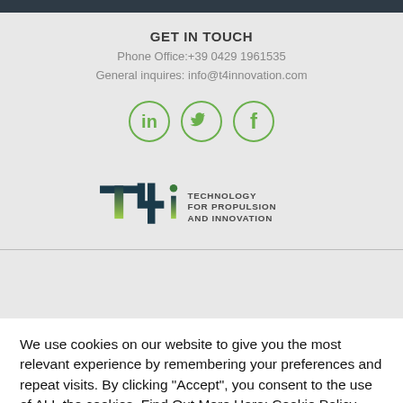GET IN TOUCH
Phone Office:+39 0429 1961535
General inquires: info@t4innovation.com
[Figure (illustration): Three circular social media icons: LinkedIn (in), Twitter (bird), Facebook (f) in green outline style]
[Figure (logo): T4i logo — Technology For Propulsion And Innovation — with stylized T4i letters and text to the right]
We use cookies on our website to give you the most relevant experience by remembering your preferences and repeat visits. By clicking "Accept", you consent to the use of ALL the cookies. Find Out More Here: Cookie Policy
Cookie settings
ACCEPT